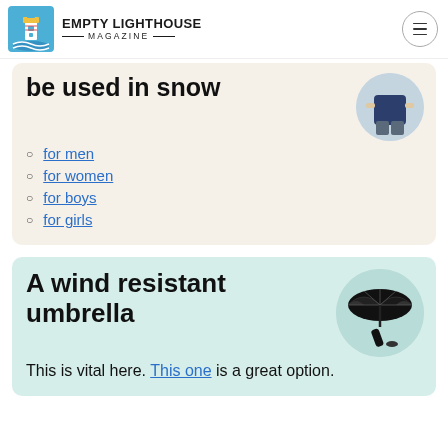EMPTY LIGHTHOUSE MAGAZINE
be used in snow
for men
for women
for boys
for girls
A wind resistant umbrella
This is vital here. This one is a great option.